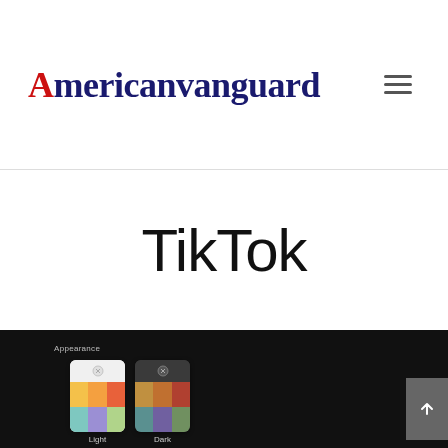[Figure (logo): Americanvanguard website logo with stylized red capital A and dark blue bold serif text]
[Figure (screenshot): Hamburger menu icon (three horizontal lines) in gray]
TikTok
[Figure (screenshot): TikTok app appearance settings screenshot showing Light and Dark mode options on a dark background, with two phone mockups displaying color palette grids]